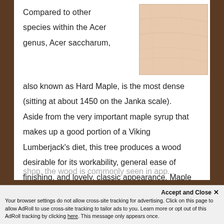[Figure (photo): Light-colored wood grain texture sample, pale peach/cream tone]
Compared to other species within the Acer genus, Acer saccharum, also known as Hard Maple, is the most dense (sitting at about 1450 on the Janka scale). Aside from the very important maple syrup that makes up a good portion of a Viking Lumberjack's diet, this tree produces a wood desirable for its workability, general ease of finishing, and lovely, classic appearance. Maple was used for furniture and cask spigots by our Viking predecessors. Today, outside of our shop, the wood is commonly seen in app...
Accept and Close ×
Your browser settings do not allow cross-site tracking for advertising. Click on this page to allow AdRoll to use cross-site tracking to tailor ads to you. Learn more or opt out of this AdRoll tracking by clicking here. This message only appears once.